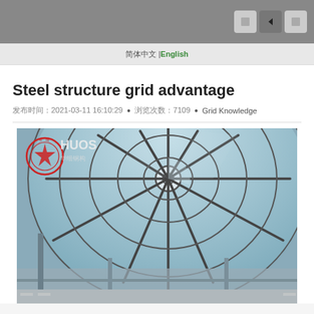Navigation bar with language selector: 简体中文 | English, and top bar with icons
Steel structure grid advantage
发布时间：2021-03-11 16:10:29 • 浏览次数：7109 • Grid Knowledge
[Figure (photo): Interior photo of a large circular steel structure glass dome/grid ceiling viewed from below, with radial steel beams converging at a central hub, and a company watermark stamp (华细钢构) in the top left corner.]